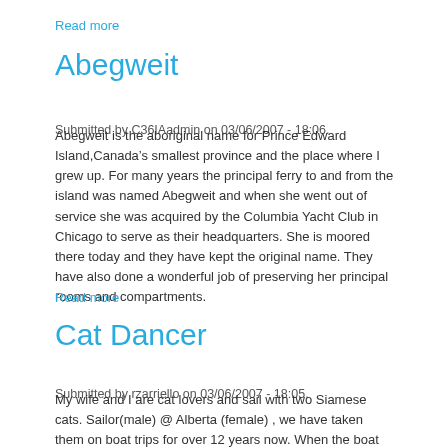Read more
Abegweit
Submitted by C36IAadmin on 03/06/2007 - 18:06.
Abegweit is the aboriginal name for Prince Edward Island,Canada’s smallest province and the place where I grew up. For many years the principal ferry to and from the island was named Abegweit and when she went out of service she was acquired by the Columbia Yacht Club in Chicago to serve as their headquarters. She is moored there today and they have kept the original name. They have also done a wonderful job of preserving her principal rooms and compartments.
Read more
Cat Dancer
Submitted by rzarriello on 03/06/2007 - 18:05.
My wife and I are cat lovers and sail with two Siamese cats. Sailor(male) @ Alberta (female) , we have taken them on boat trips for over 12 years now. When the boat heels they do a little "Cat Dance" to readjust their footing, hence the name. - Ron & Connie Zarriello